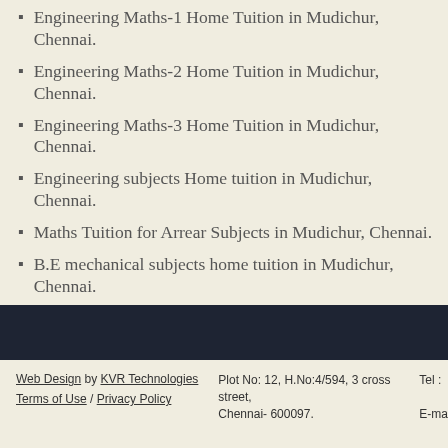Engineering Maths-1 Home Tuition in Mudichur, Chennai.
Engineering Maths-2 Home Tuition in Mudichur, Chennai.
Engineering Maths-3 Home Tuition in Mudichur, Chennai.
Engineering subjects Home tuition in Mudichur, Chennai.
Maths Tuition for Arrear Subjects in Mudichur, Chennai.
B.E mechanical subjects home tuition in Mudichur, Chennai.
Engineering thermo dynamics tuition in Mudichur, Chennai.
Thermal engineering home tuition in Mudichur, Chennai.
Fluid mechanics home tuition in Mudichur, Chennai.
Mechanics of materials home tuition in Mudichur, Chennai.
Web Design by KVR Technologies | Terms of Use / Privacy Policy | Plot No: 12, H.No:4/594, 3 cross street, Chennai- 600097. | Tel : | E-ma